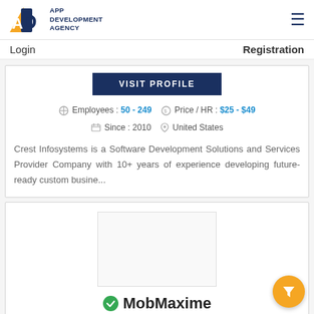[Figure (logo): App Development Agency logo with AD initials and text]
Login   Registration
VISIT PROFILE
Employees : 50 - 249   Price / HR : $25 - $49   Since : 2010   United States
Crest Infosystems is a Software Development Solutions and Services Provider Company with 10+ years of experience developing future-ready custom busine...
[Figure (logo): MobMaxime company logo placeholder (empty white box)]
MobMaxime
Top Mobile App and Web Development Company